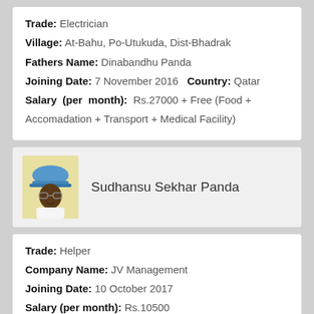Trade: Electrician
Village: At-Bahu, Po-Utukuda, Dist-Bhadrak
Fathers Name: Dinabandhu Panda
Joining Date: 7 November 2016  Country: Qatar
Salary (per month): Rs.27000 + Free (Food + Accomadation + Transport + Medical Facility)
Sudhansu Sekhar Panda
Trade: Helper
Company Name: JV Management
Joining Date: 10 October 2017
Salary (per month): Rs.10500
Jharana Behera